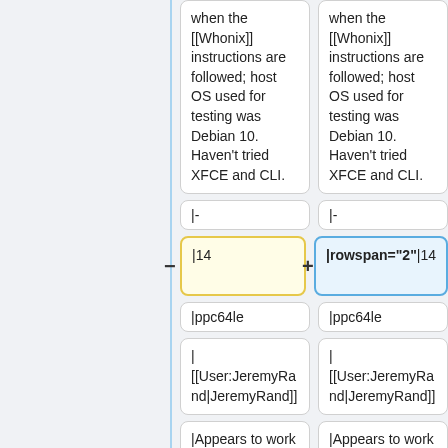when the [[Whonix]] instructions are followed; host OS used for testing was Debian 10. Haven't tried XFCE and CLI.
when the [[Whonix]] instructions are followed; host OS used for testing was Debian 10. Haven't tried XFCE and CLI.
|-
|-
|14
|rowspan="2"|14
|ppc64le
|ppc64le
| [[User:JeremyRand|JeremyRand]]
| [[User:JeremyRand|JeremyRand]]
|Appears to work fine when the [[Whonix]] instructions
|Appears to work fine when the [[Whonix]] instructions